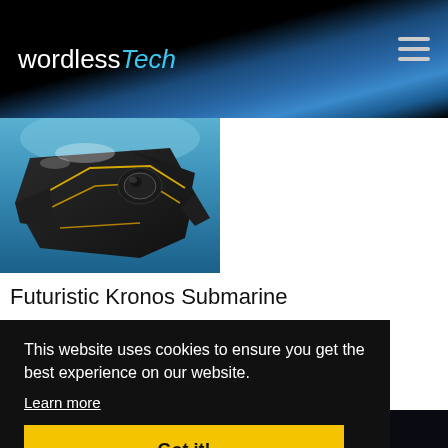wordlessTech
[Figure (photo): Close-up photo of the futuristic Kronos Submarine concept design, showing a dark angular vehicle with yellow trim lines submerged in blue water]
Futuristic Kronos Submarine
This website uses cookies to ensure you get the best experience on our website.
Learn more
Got it!
[Figure (photo): Bottom strip showing partial dark photo of submarine or ocean scene]